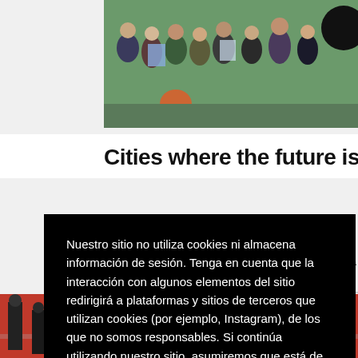[Figure (photo): Group of people outdoors, standing and looking at documents/papers, green area background, black circle overlay in top right]
Cities where the future is decided
Nuestro sitio no utiliza cookies ni almacena información de sesión. Tenga en cuenta que la interacción con algunos elementos del sitio redirigirá a plataformas y sitios de terceros que utilizan cookies (por ejemplo, Instagram), de los que no somos responsables. Si continúa utilizando nuestro sitio, asumiremos que está de acuerdo con eso
Estoy de acuerdo
[Figure (photo): Bottom portion of page showing people on a red/dark surface, partially visible]